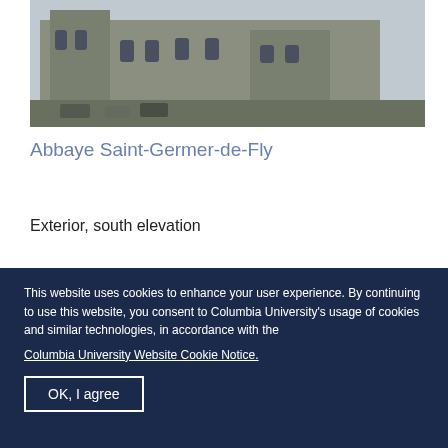[Figure (photo): Exterior photograph of Abbaye Saint-Germer-de-Fly, showing the south elevation of the gothic abbey building with cars parked in front.]
Abbaye Saint-Germer-de-Fly
Exterior, south elevation
[Figure (photo): Close-up photograph of the abbey exterior showing a Romanesque stone archway with decorative carved moldings and stone masonry above.]
This website uses cookies to enhance your user experience. By continuing to use this website, you consent to Columbia University's usage of cookies and similar technologies, in accordance with the
Columbia University Website Cookie Notice.
OK, I agree